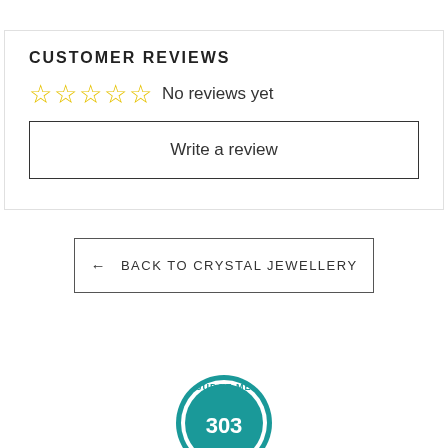CUSTOMER REVIEWS
☆☆☆☆☆  No reviews yet
Write a review
← BACK TO CRYSTAL JEWELLERY
[Figure (logo): Judge.me badge showing 303]